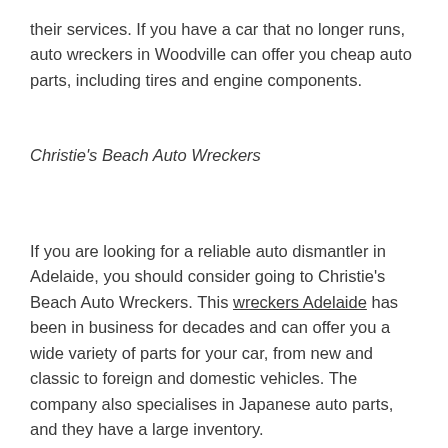their services. If you have a car that no longer runs, auto wreckers in Woodville can offer you cheap auto parts, including tires and engine components.
Christie's Beach Auto Wreckers
If you are looking for a reliable auto dismantler in Adelaide, you should consider going to Christie's Beach Auto Wreckers. This wreckers Adelaide has been in business for decades and can offer you a wide variety of parts for your car, from new and classic to foreign and domestic vehicles. The company also specialises in Japanese auto parts, and they have a large inventory.
This wrecking company is based in Adelaide and offers free car removals for unwanted vehicles. They will pick up your car and give you instant cash for it, and if it is in good condition, they will even offer you more than what you'd expect to receive. You can reach them by calling them at